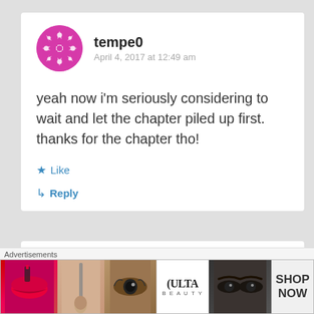[Figure (illustration): Pink fractal/geometric avatar circle for user tempe0]
tempe0
April 4, 2017 at 12:49 am
yeah now i'm seriously considering to wait and let the chapter piled up first. thanks for the chapter tho!
Like
Reply
[Figure (illustration): Dark avatar circle for user Ranobesuki (partial, cropped)]
Ranobesuki
Advertisements
[Figure (photo): Ulta Beauty advertisement banner showing makeup images including lips, brush, eyes, and Ulta logo with SHOP NOW text]